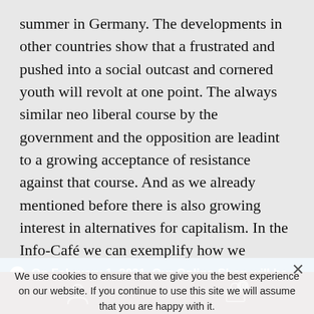summer in Germany. The developments in other countries show that a frustrated and pushed into a social outcast and cornered youth will revolt at one point. The always similar neo liberal course by the government and the opposition are leadint to a growing acceptance of resistance against that course. And as we already mentioned before there is also growing interest in alternatives for capitalism. In the Info-Café we can exemplify how we conceive antoher world.
On February 1, 2021, Our Online-Shop will be closed. All orders until January 31 will be delivered
Dismiss
We use cookies to ensure that we give you the best experience on our website. If you continue to use this site we will assume that you are happy with it.